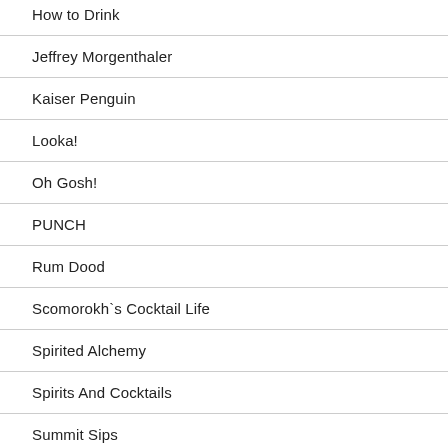How to Drink
Jeffrey Morgenthaler
Kaiser Penguin
Looka!
Oh Gosh!
PUNCH
Rum Dood
Scomorokh`s Cocktail Life
Spirited Alchemy
Spirits And Cocktails
Summit Sips
And & Bottle Bar